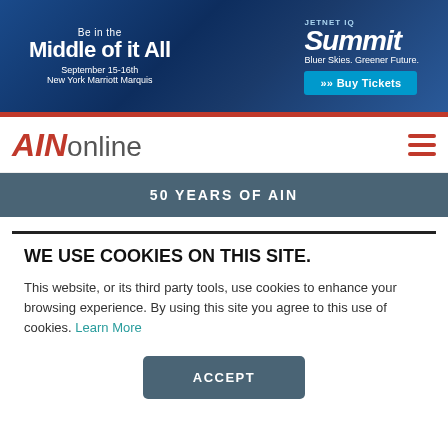[Figure (illustration): JETNET IQ Summit advertisement banner. Dark blue background with city skyline. Text: 'Be in the Middle of it All' / 'September 15-16th / New York Marriott Marquis' on left side. Right side shows 'Summit / Bluer Skies. Greener Future.' logo in white italic text and a blue 'Buy Tickets' button with arrows.]
AINonline
50 YEARS OF AIN
WE USE COOKIES ON THIS SITE.
This website, or its third party tools, use cookies to enhance your browsing experience. By using this site you agree to this use of cookies. Learn More
ACCEPT